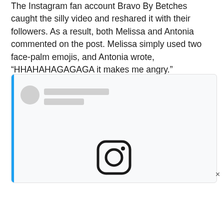The Instagram fan account Bravo By Betches caught the silly video and reshared it with their followers. As a result, both Melissa and Antonia commented on the post. Melissa simply used two face-palm emojis, and Antonia wrote, “HHAHAHAGAGAGA it makes me angry.”
[Figure (screenshot): An embedded Instagram post preview with a blue left border, a circular avatar placeholder, two gray placeholder lines for username/handle, a large white content area, and the Instagram camera logo icon at the bottom center. A close (x) button appears at the bottom right.]